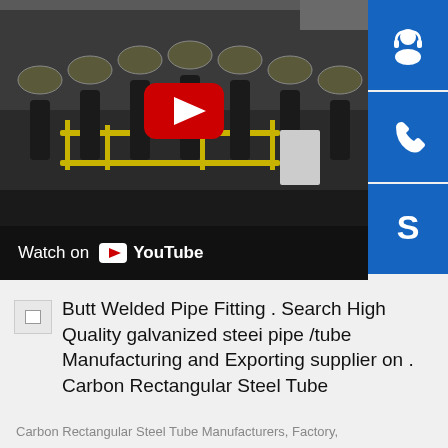[Figure (screenshot): YouTube video thumbnail showing an aerial/overhead view of a steel pipe manufacturing factory floor with industrial machinery, rollers, and yellow safety railings. A red YouTube play button is centered on the image. Below is a black bar with 'Watch on YouTube' text and logo. To the right are three blue square icon buttons: a customer service/headset icon, a phone icon, and a Skype icon.]
Butt Welded Pipe Fitting . Search High Quality galvanized steei pipe /tube Manufacturing and Exporting supplier on . Carbon Rectangular Steel Tube
Carbon Rectangular Steel Tube Manufacturers, Factory,